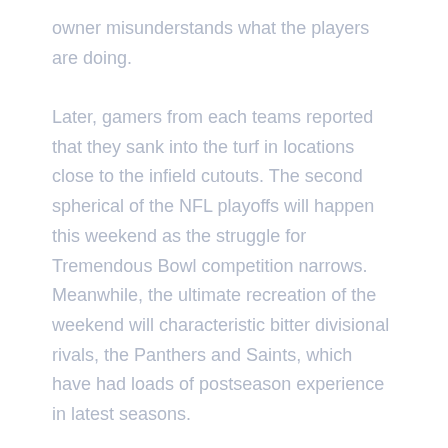owner misunderstands what the players are doing. Later, gamers from each teams reported that they sank into the turf in locations close to the infield cutouts. The second spherical of the NFL playoffs will happen this weekend as the struggle for Tremendous Bowl competition narrows. Meanwhile, the ultimate recreation of the weekend will characteristic bitter divisional rivals, the Panthers and Saints, which have had loads of postseason experience in latest seasons.